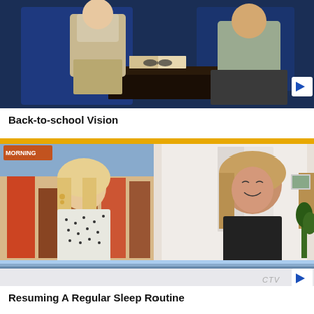[Figure (screenshot): TV news segment thumbnail showing two people seated at a desk in a studio with blue lighting, one in khaki pants and one in a grey shirt. A play button is visible on the right side.]
Back-to-school Vision
[Figure (screenshot): CTV news video thumbnail showing a split screen: on the left a blonde female news anchor in a patterned blouse stands in front of a city backdrop, on the right a woman with wavy blonde-brown hair and a black sleeveless top smiles. CTV logo visible in lower right. A play button is visible on the right side.]
Resuming A Regular Sleep Routine